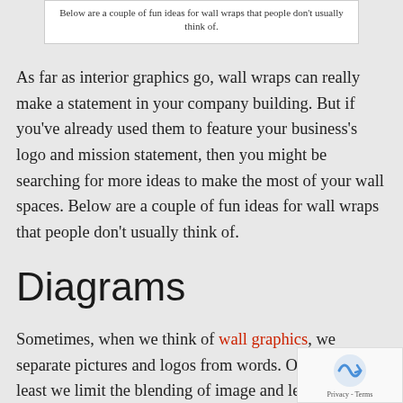Below are a couple of fun ideas for wall wraps that people don't usually think of.
As far as interior graphics go, wall wraps can really make a statement in your company building. But if you've already used them to feature your business's logo and mission statement, then you might be searching for more ideas to make the most of your wall spaces. Below are a couple of fun ideas for wall wraps that people don't usually think of.
Diagrams
Sometimes, when we think of wall graphics, we separate pictures and logos from words. Or at the very least we limit the blending of image and lettering tagline off to the side of the picture. But there are of ways to get creative with mixing in facts and tidbits of